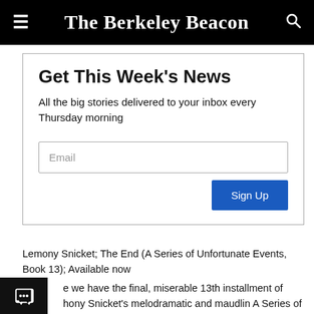≡  The Berkeley Beacon  🔍
Get This Week's News
All the big stories delivered to your inbox every Thursday morning
Email
Sign Up
Lemony Snicket; The End (A Series of Unfortunate Events, Book 13); Available now
e we have the final, miserable 13th installment of hony Snicket's melodramatic and maudlin A Series of fortunate Events. Some of the mystery surrounding the inic Baudelaires is finally dissolved. Who was Beatrice